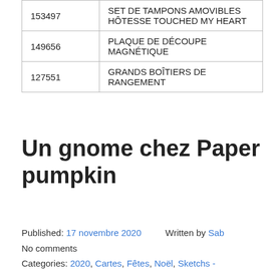| 153497 | SET DE TAMPONS AMOVIBLES HÔTESSE TOUCHED MY HEART |
| 149656 | PLAQUE DE DÉCOUPE MAGNÉTIQUE |
| 127551 | GRANDS BOÎTIERS DE RANGEMENT |
Un gnome chez Paper pumpkin
Published: 17 novembre 2020   Written by Sab
No comments
Categories: 2020, Cartes, Fêtes, Noël, Sketchs -